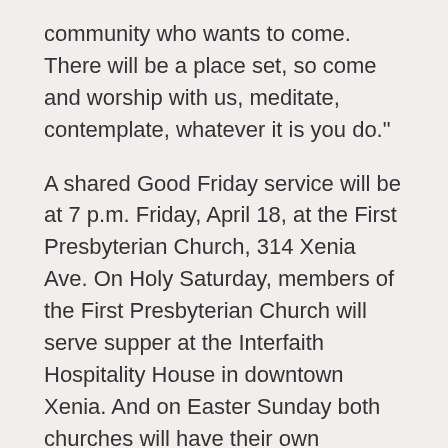community who wants to come. There will be a place set, so come and worship with us, meditate, contemplate, whatever it is you do."
A shared Good Friday service will be at 7 p.m. Friday, April 18, at the First Presbyterian Church, 314 Xenia Ave. On Holy Saturday, members of the First Presbyterian Church will serve supper at the Interfaith Hospitality House in downtown Xenia. And on Easter Sunday both churches will have their own services to accommodate some of the largest crowds they typically see all year. At the First Presbyterian Church's Easter service, there is excitement around the fact that there will be four baptisms and six new members welcomed into the growing congregation, Saari said.
The two pastors are planning a summer vacation Bible camp and collaborations with other local churches,